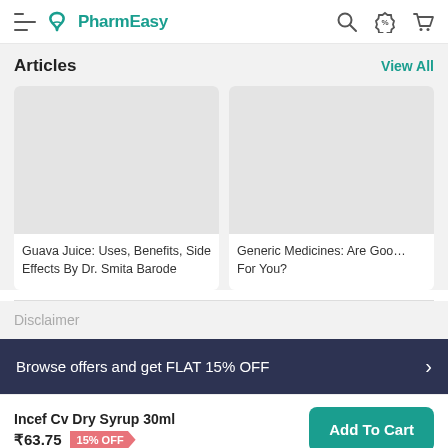PharmEasy
Articles
View All
[Figure (illustration): Article card image placeholder (light grey) for Guava Juice article]
Guava Juice: Uses, Benefits, Side Effects By Dr. Smita Barode
[Figure (illustration): Article card image placeholder (light grey) for Generic Medicines article]
Generic Medicines: Are Good For You?
Disclaimer
Browse offers and get FLAT 15% OFF
Incef Cv Dry Syrup 30ml
₹63.75  15% OFF